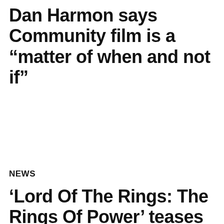Dan Harmon says Community film is a “matter of when and not if”
NEWS
‘Lord Of The Rings: The Rings Of Power’ teases new world in final trailer